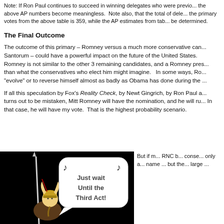Note: If Ron Paul continues to succeed in winning delegates who were previously bound to other candidates, the above AP numbers become meaningless. Note also, that the total of delegates determined by the primary votes from the above table is 359, while the AP estimates from table ... be determined.
The Final Outcome
The outcome of this primary – Romney versus a much more conservative candidate such as Santorum – could have a powerful impact on the future of the United States. Romney is not similar to the other 3 remaining candidates, and a Romney presidency could be different than what the conservatives who elect him might imagine. In some ways, Romney has shown a tendency to "evolve" or to reverse himself almost as badly as Obama has done during the ...
If all this speculation by Fox's Reality Check, by Newt Gingrich, by Ron Paul and ... turns out to be mistaken, Mitt Romney will have the nomination, and he will run against Obama. In that case, he will have my vote. That is the highest probability scenario.
[Figure (illustration): Black background image of a Viking character holding a spear, with a speech bubble containing musical notes and the text 'Just wait Until the Third Act!']
But if ... RNC b... conse... only a... name ... but the... large ...